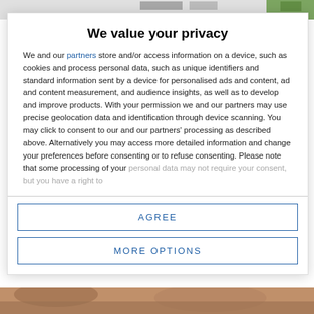[Figure (screenshot): Top navigation bar / website header strip, partially visible]
We value your privacy
We and our partners store and/or access information on a device, such as cookies and process personal data, such as unique identifiers and standard information sent by a device for personalised ads and content, ad and content measurement, and audience insights, as well as to develop and improve products. With your permission we and our partners may use precise geolocation data and identification through device scanning. You may click to consent to our and our partners' processing as described above. Alternatively you may access more detailed information and change your preferences before consenting or to refuse consenting. Please note that some processing of your personal data may not require your consent, but you have a right to
AGREE
MORE OPTIONS
[Figure (photo): Bottom portion of a photo, partially visible at the bottom of the page]